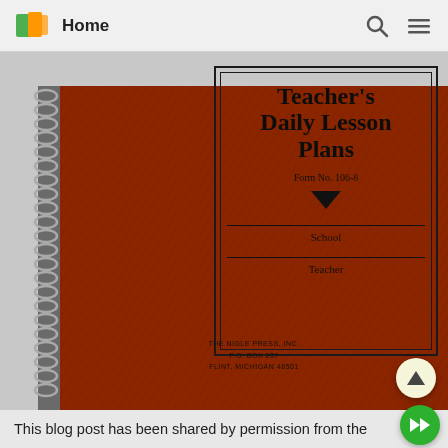Home
[Figure (photo): A spiral-bound teacher's lesson plan book with a dark red cover. The cover shows a bordered label area with the title 'Teacher's Daily Lesson Plans', Form No. 106-8, with fields for School and Teacher, and publisher info for The Nigle Press, Inc., P.O. Box 207, Flint, Michigan 48501.]
Teacher's Daily Lesson Plans
Form No. 106-8
School
Teacher
THE NIGLE PRESS, INC.
P.O. BOX 207
FLINT, MICHIGAN 48501
This blog post has been shared by permission from the